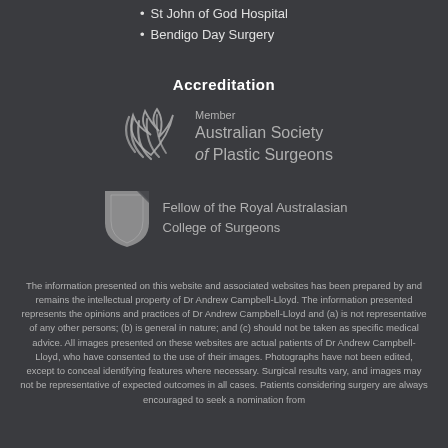St John of God Hospital
Bendigo Day Surgery
Accreditation
[Figure (logo): Australian Society of Plastic Surgeons member logo with stylized wing/feather mark]
[Figure (logo): Royal Australasian College of Surgeons fellow logo with shield mark]
The information presented on this website and associated websites has been prepared by and remains the intellectual property of Dr Andrew Campbell-Lloyd. The information presented represents the opinions and practices of Dr Andrew Campbell-Lloyd and (a) is not representative of any other persons; (b) is general in nature; and (c) should not be taken as specific medical advice. All images presented on these websites are actual patients of Dr Andrew Campbell-Lloyd, who have consented to the use of their images. Photographs have not been edited, except to conceal identifying features where necessary. Surgical results vary, and images may not be representative of expected outcomes in all cases. Patients considering surgery are always encouraged to seek a nomination from